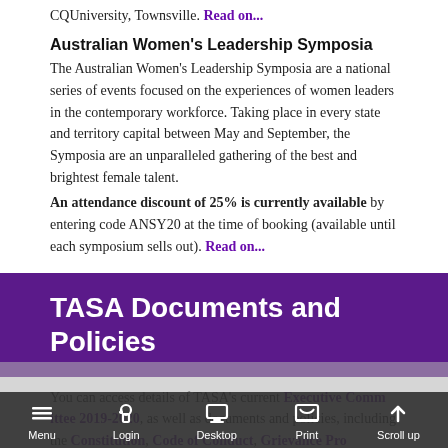CQUniversity, Townsville. Read on...
Australian Women's Leadership Symposia
The Australian Women's Leadership Symposia are a national series of events focused on the experiences of women leaders in the contemporary workforce. Taking place in every state and territory capital between May and September, the Symposia are an unparalleled gathering of the best and brightest female talent.
An attendance discount of 25% is currently available by entering code ANSY20 at the time of booking (available until each symposium sells out). Read on...
TASA Documents and Policies
You can access details of TASA's current Executive Committee 2019-2020, as well as documents and policies, including the Constitution, Code of Conduct, Grievance Procedures & TASA History...